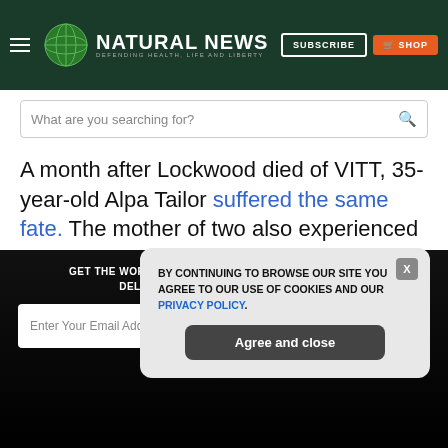NATURAL NEWS — DEFENDING HEALTH, LIFE AND LIBERTY
What are you searching for?
A month after Lockwood died of VITT, 35-year-old Alpa Tailor suffered the same fate. The mother of two also experienced blood clots and low platelet count after getting injected with the shot in March 2021. She died the following month. According to the Daily Mail, Tailor got vaccinated as
GET THE WORLD'S BEST NATURAL HEALTH NEWSLETTER DELIVERED STRAIGHT TO YOUR INBOX
BY CONTINUING TO BROWSE OUR SITE YOU AGREE TO OUR USE OF COOKIES AND OUR PRIVACY POLICY. Agree and close